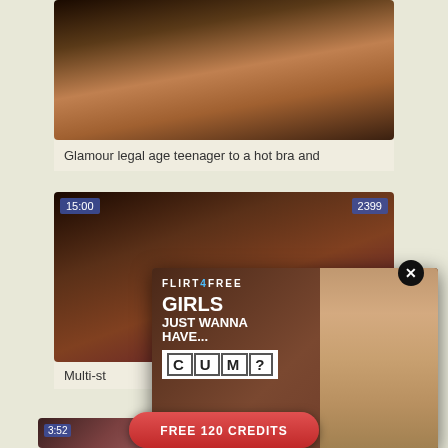[Figure (photo): Video thumbnail showing a person in a pink bra top, dark background]
Glamour legal age teenager to a hot bra and
[Figure (photo): Video thumbnail showing a person lying down, red polka dot background, duration badge 15:00 and view count 2399]
Multi-st
[Figure (photo): Flirt4Free advertisement popup with text: GIRLS JUST WANNA HAVE... CUM? and FREE 120 CREDITS button, showing two women, close button X]
[Figure (photo): Partial video thumbnail showing a person, duration badge 3:52]